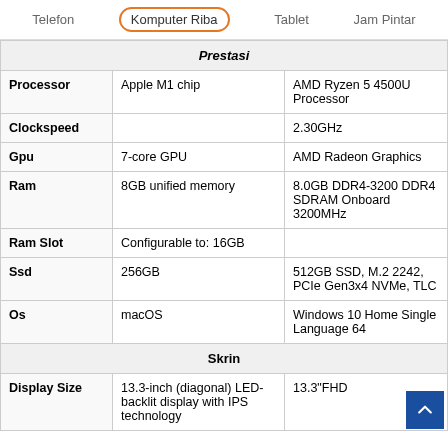Telefon | Komputer Riba | Tablet | Jam Pintar
|  | Apple MacBook | Acer Aspire |
| --- | --- | --- |
| Prestasi |  |  |
| Processor | Apple M1 chip | AMD Ryzen 5 4500U Processor |
| Clockspeed |  | 2.30GHz |
| Gpu | 7-core GPU | AMD Radeon Graphics |
| Ram | 8GB unified memory | 8.0GB DDR4-3200 DDR4 SDRAM Onboard 3200MHz |
| Ram Slot | Configurable to: 16GB |  |
| Ssd | 256GB | 512GB SSD, M.2 2242, PCIe Gen3x4 NVMe, TLC |
| Os | macOS | Windows 10 Home Single Language 64 |
| Skrin |  |  |
| Display Size | 13.3-inch (diagonal) LED-backlit display with IPS technology | 13.3"FHD |